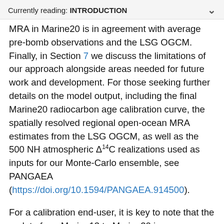Currently reading: INTRODUCTION
MRA in Marine20 is in agreement with average pre-bomb observations and the LSG OGCM. Finally, in Section 7 we discuss the limitations of our approach alongside areas needed for future work and development. For those seeking further details on the model output, including the final Marine20 radiocarbon age calibration curve, the spatially resolved regional open-ocean MRA estimates from the LSG OGCM, as well as the 500 NH atmospheric Δ¹⁴C realizations used as inputs for our Monte-Carlo ensemble, see PANGAEA (https://doi.org/10.1594/PANGAEA.914500).
For a calibration end-user, it is key to note that the update from Marine13 to Marine20 is accompanied by updates to the regional ΔR corrections which can be found at http://calib.org/marine/. This is particularly critical since Marine20 estimates a significantly